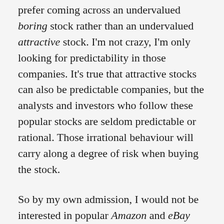prefer coming across an undervalued boring stock rather than an undervalued attractive stock. I'm not crazy, I'm only looking for predictability in those companies. It's true that attractive stocks can also be predictable companies, but the analysts and investors who follow these popular stocks are seldom predictable or rational. Those irrational behaviour will carry along a degree of risk when buying the stock.
So by my own admission, I would not be interested in popular Amazon and eBay right? Even if you build a case that these 2 names are currently facing some hard times, it would not be enough to move me into a contrarian interest. Call me old fashioned, but where growth managers turned fad-value may find